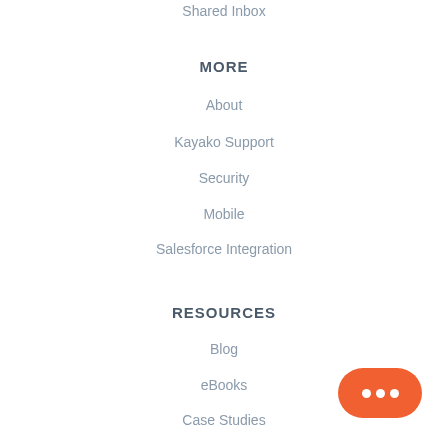Shared Inbox
MORE
About
Kayako Support
Security
Mobile
Salesforce Integration
RESOURCES
Blog
eBooks
Case Studies
Webinars
[Figure (illustration): Orange rounded chat button with three white dots]